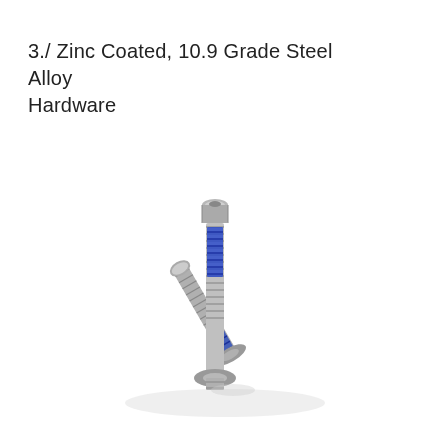3./ Zinc Coated, 10.9 Grade Steel Alloy Hardware
[Figure (photo): Two zinc-coated 10.9 grade steel alloy socket head cap screws with blue thread-locking compound on the threads. One screw stands nearly vertical, the other lies diagonally. Both have integrated washers/flanges visible at the base.]